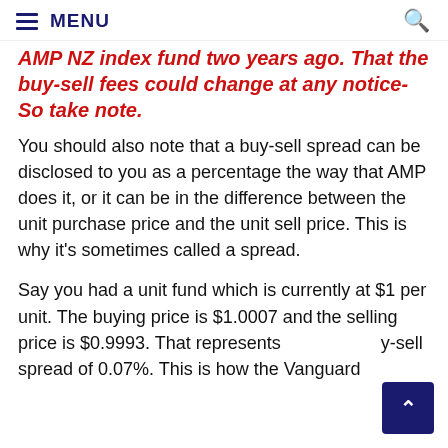MENU
AMP NZ index fund two years ago. That the buy-sell fees could change at any notice- So take note.
You should also note that a buy-sell spread can be disclosed to you as a percentage the way that AMP does it, or it can be in the difference between the unit purchase price and the unit sell price. This is why it’s sometimes called a spread.
Say you had a unit fund which is currently at $1 per unit. The buying price is $1.0007 and the selling price is $0.9993. That represents a buy-sell spread of 0.07%. This is how the Vanguard